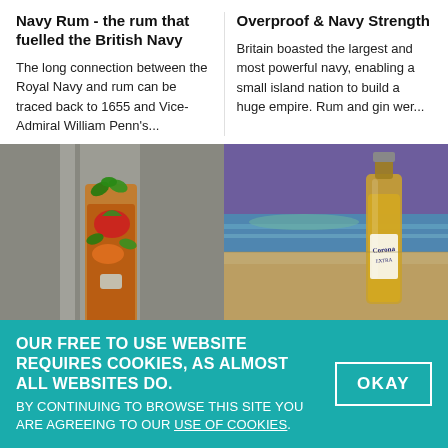Navy Rum - the rum that fuelled the British Navy
The long connection between the Royal Navy and rum can be traced back to 1655 and Vice-Admiral William Penn's...
Overproof & Navy Strength
Britain boasted the largest and most powerful navy, enabling a small island nation to build a huge empire. Rum and gin wer...
[Figure (photo): A tall cocktail glass filled with rum drink, strawberries, orange slices, and mint leaves]
[Figure (photo): A Corona beer bottle on a sandy beach with ocean and sky in the background]
OUR FREE TO USE WEBSITE REQUIRES COOKIES, AS ALMOST ALL WEBSITES DO. BY CONTINUING TO BROWSE THIS SITE YOU ARE AGREEING TO OUR USE OF COOKIES.